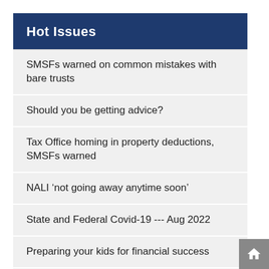Hot Issues
SMSFs warned on common mistakes with bare trusts
Should you be getting advice?
Tax Office homing in property deductions, SMSFs warned
NALI ‘not going away anytime soon’
State and Federal Covid-19 --- Aug 2022
Preparing your kids for financial success
Largest natural gas produces by country from 1970-2021